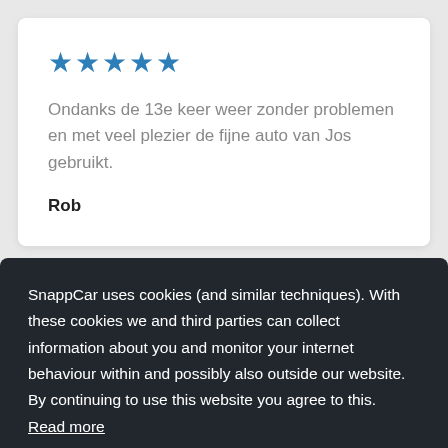[Figure (other): Five blue star rating icons]
Ondanks de 13e keer weer zonder problemen en met veel plezier de fijne auto van Jos gebruikt.
Rob
SnappCar uses cookies (and similar techniques). With these cookies we and third parties can collect information about you and monitor your internet behaviour within and possibly also outside our website. By continuing to use this website you agree to this. Read more
us!
Clear!